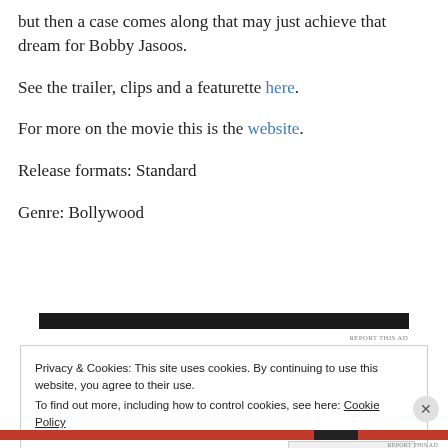but then a case comes along that may just achieve that dream for Bobby Jasoos.
See the trailer, clips and a featurette here.
For more on the movie this is the website.
Release formats: Standard
Genre: Bollywood
[Figure (other): Dark advertisement banner bar]
REPORT THIS AD
Privacy & Cookies: This site uses cookies. By continuing to use this website, you agree to their use.
To find out more, including how to control cookies, see here: Cookie Policy
Close and accept